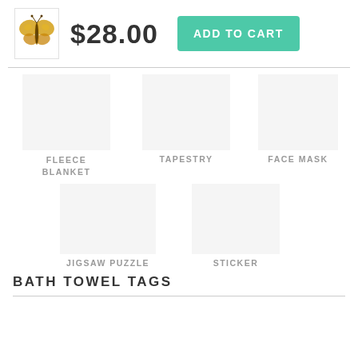[Figure (photo): Small butterfly product thumbnail image]
$28.00
ADD TO CART
FLEECE BLANKET
TAPESTRY
FACE MASK
JIGSAW PUZZLE
STICKER
BATH TOWEL TAGS